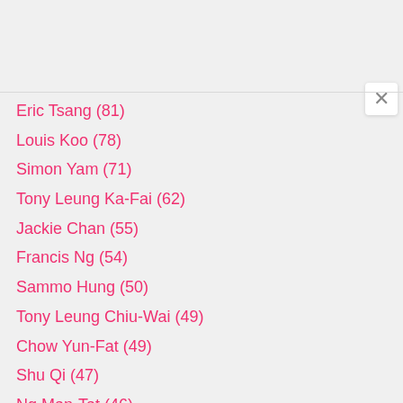Eric Tsang (81)
Louis Koo (78)
Simon Yam (71)
Tony Leung Ka-Fai (62)
Jackie Chan (55)
Francis Ng (54)
Sammo Hung (50)
Tony Leung Chiu-Wai (49)
Chow Yun-Fat (49)
Shu Qi (47)
Ng Man-Tat (46)